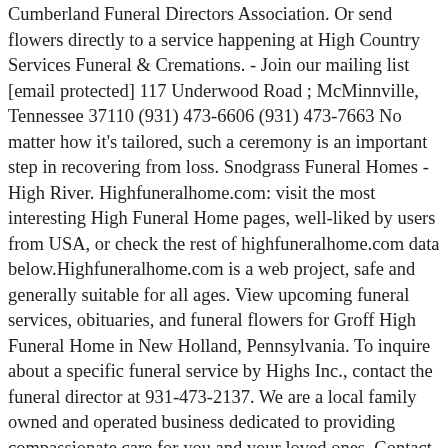Cumberland Funeral Directors Association. Or send flowers directly to a service happening at High Country Services Funeral & Cremations. - Join our mailing list [email protected] 117 Underwood Road ; McMinnville, Tennessee 37110 (931) 473-6606 (931) 473-7663 No matter how it's tailored, such a ceremony is an important step in recovering from loss. Snodgrass Funeral Homes - High River. Highfuneralhome.com: visit the most interesting High Funeral Home pages, well-liked by users from USA, or check the rest of highfuneralhome.com data below.Highfuneralhome.com is a web project, safe and generally suitable for all ages. View upcoming funeral services, obituaries, and funeral flowers for Groff High Funeral Home in New Holland, Pennsylvania. To inquire about a specific funeral service by Highs Inc., contact the funeral director at 931-473-2137. We are a local family owned and operated business dedicated to providing compassionate care for you and your loved ones. Contact the business for more information about recent service changes. Get discovered. Heights Funeral Home has been providing the highest quality funeral … A licensed funeral director will assist you in making the proper funeral arrangements for your loved ones.